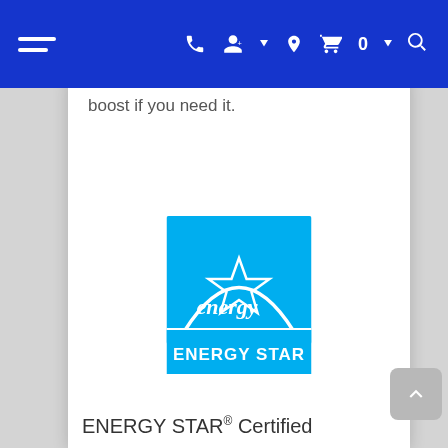Navigation bar with hamburger menu, phone, account, location, cart (0), and search icons
boost if you need it.
[Figure (logo): ENERGY STAR certification logo — blue square with white arch, white star outline with italic 'energy' script text and 'ENERGY STAR' label in white on blue background]
ENERGY STAR® Certified